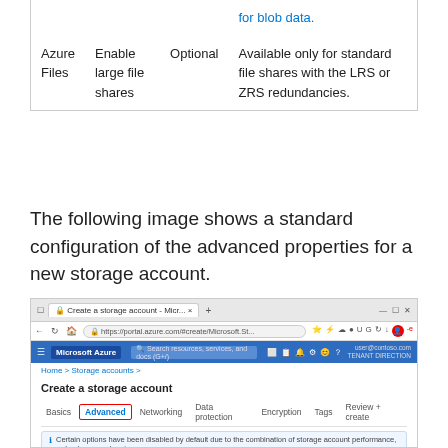| Service | Setting | Availability | Description |
| --- | --- | --- | --- |
| Azure Files | Enable large file shares | Optional | Available only for standard file shares with the LRS or ZRS redundancies. |
The following image shows a standard configuration of the advanced properties for a new storage account.
[Figure (screenshot): Screenshot of Microsoft Azure portal showing the 'Create a storage account' page with the Advanced tab selected. The Advanced tab is highlighted with a red border. The Security section is visible with options: Require secure transfer for REST API operations (checked), Enable blob public access (checked), Enable storage account key access (checked), Default to Azure Active Directory authorization in the Azure portal (unchecked). An informational banner is shown about certain options being disabled.]